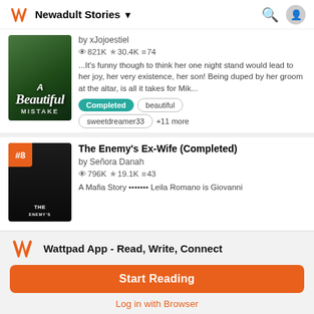Newadult Stories
by xJojoestiel
821K ★30.4K ≡74
...It's funny though to think her one night stand would lead to her joy, her very existence, her son! Being duped by her groom at the altar, is all it takes for Mik...
Completed
beautiful
sweetdreamer33
+11 more
The Enemy's Ex-Wife (Completed)
by Señora Danah
796K ★19.1K ≡43
A Mafia Story ••••••• Leila Romano is Giovanni
Wattpad App - Read, Write, Connect
Start Reading
Log in with Browser